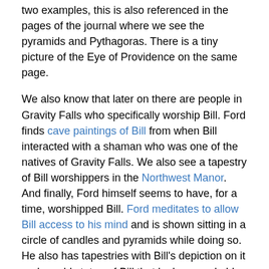two examples, this is also referenced in the pages of the journal where we see the pyramids and Pythagoras. There is a tiny picture of the Eye of Providence on the same page.
We also know that later on there are people in Gravity Falls who specifically worship Bill. Ford finds cave paintings of Bill from when Bill interacted with a shaman who was one of the natives of Gravity Falls. We also see a tapestry of Bill worshippers in the Northwest Manor. And finally, Ford himself seems to have, for a time, worshipped Bill. Ford meditates to allow Bill access to his mind and is shown sitting in a circle of candles and pyramids while doing so. He also has tapestries with Bill's depiction on it and a gold statue of Bill that looks remarkably similar to depictions of Shiva from Hinduism.